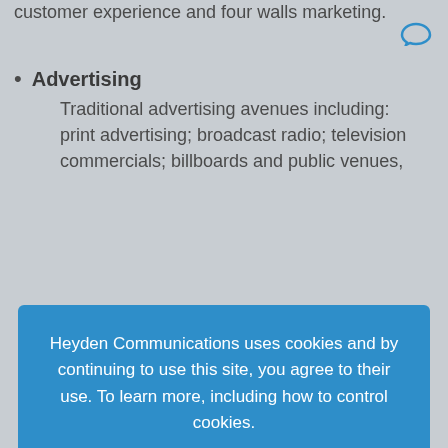customer experience and four walls marketing.
Advertising
Traditional advertising avenues including: print advertising; broadcast radio; television commercials; billboards and public venues,
[Figure (other): Blue smiley/chat icon in top right corner]
Heyden Communications uses cookies and by continuing to use this site, you agree to their use. To learn more, including how to control cookies.
Cookie settings
ACCEPT
Digital Marketing
Digital marketing includes but is not limited to: website and content marketing, blogging, pay per click (PPC) advertising, online display advertising, search engine optimization (SEO),